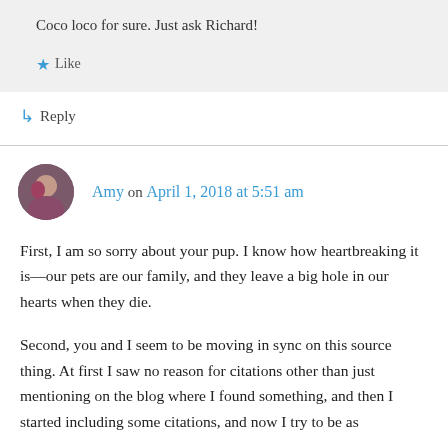Coco loco for sure. Just ask Richard!
★ Like
↳ Reply
Amy on April 1, 2018 at 5:51 am
First, I am so sorry about your pup. I know how heartbreaking it is—our pets are our family, and they leave a big hole in our hearts when they die.
Second, you and I seem to be moving in sync on this source thing. At first I saw no reason for citations other than just mentioning on the blog where I found something, and then I started including some citations, and now I try to be as